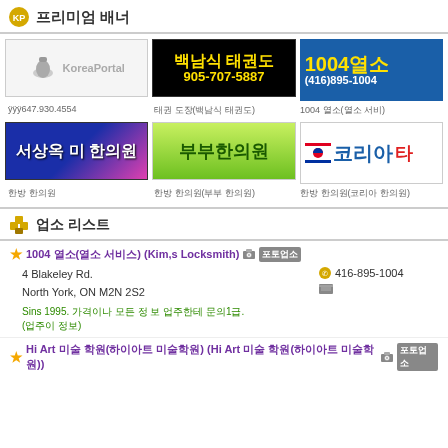프리미엄 배너
[Figure (other): KoreaPortal logo banner]
[Figure (other): 백남식 태권도 905-707-5887 black banner]
[Figure (other): 1004열소 (416)895-1004 blue banner]
[Figure (other): 서상욱 미 한의원 blue/pink banner]
[Figure (other): 부부한의원 green banner]
[Figure (other): 코리아 logo banner]
647.930.4554
태권도 도장(백남식 태권도)
1004 열소(열소 서비)
한방 한의원
한방 한의원(부부 한의원)
한방 한의원(코리아 한의원)
업소 리스트
1004 열소(열소 서비스) (Kim,s Locksmith) 포토업소
4 Blakeley Rd.
North York, ON M2N 2S2
416-895-1004
Sins 1995. 가격이나 모든 정보 업주한테 문의1급. (업주이 정보)
Hi Art 미술 학원(하이아트 미술학원) (Hi Art 미술 학원(하이아트 미술학원)) 포토업소